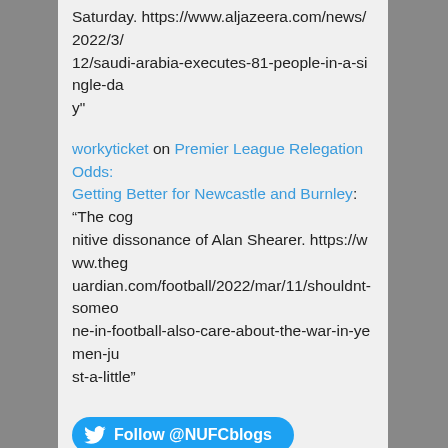Saturday. https://www.aljazeera.com/news/2022/3/12/saudi-arabia-executes-81-people-in-a-single-day"
workyticket on Premier League Relegation Odds: Getting Better for Newcastle and Burnley: “The cognitive dissonance of Alan Shearer. https://www.theguardian.com/football/2022/mar/11/shouldnt-someone-in-football-also-care-about-the-war-in-yemen-just-a-little”
[Figure (other): Twitter Follow button: Follow @NUFCblogs]
Premier League Table
Live football scores . Current table, fixtures & results.